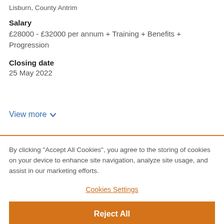Lisburn, County Antrim
Salary
£28000 - £32000 per annum + Training + Benefits + Progression
Closing date
25 May 2022
View more
By clicking “Accept All Cookies”, you agree to the storing of cookies on your device to enhance site navigation, analyze site usage, and assist in our marketing efforts.
Cookies Settings
Reject All